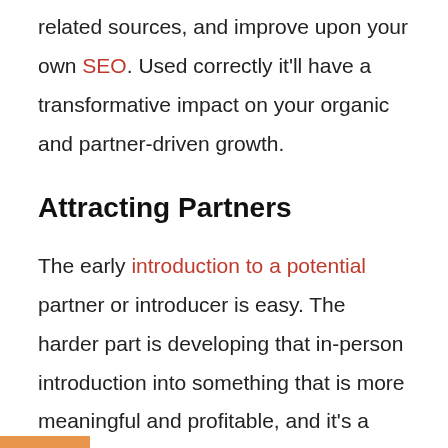related sources, and improve upon your own SEO. Used correctly it'll have a transformative impact on your organic and partner-driven growth.
Attracting Partners
The early introduction to a potential partner or introducer is easy. The harder part is developing that in-person introduction into something that is more meaningful and profitable, and it's a formalised partner program that delivers real tangible 'everyday' value that'll set your presence apart from the sea of mediocrity